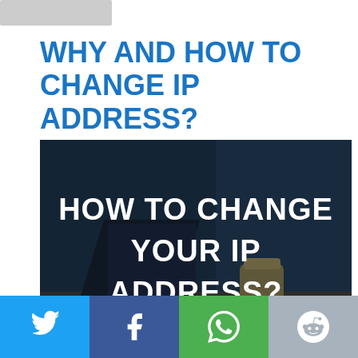WHY AND HOW TO CHANGE IP ADDRESS?
[Figure (photo): Dark-toned photo of a laptop on a desk with a coffee cup, overlaid with bold white text reading 'HOW TO CHANGE YOUR IP ADDRESS?']
Social share buttons: Twitter, Facebook, WhatsApp, Reddit